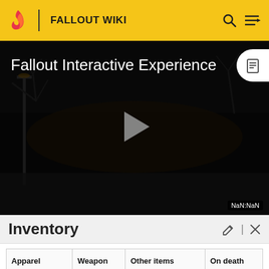FALLOUT WIKI
[Figure (screenshot): Fallout Interactive Experience video thumbnail — dark post-apocalyptic scene with bare trees and street lamp, showing a play button in the center. Time display shows NaN:NaN.]
Inventory
| Apparel | Weapon | Other items | On death |
| --- | --- | --- | --- |
| Wasteland settler outfit |  | Diego's key
Saint Monica's |  |